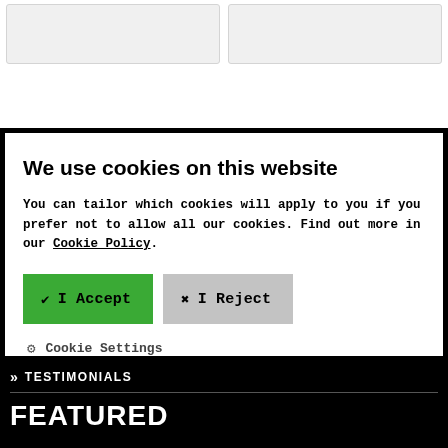[Figure (screenshot): Two card placeholders at the top of the page]
We use cookies on this website
You can tailor which cookies will apply to you if you prefer not to allow all our cookies. Find out more in our Cookie Policy.
I Accept | I Reject
Cookie Settings
TESTIMONIALS
FEATURED